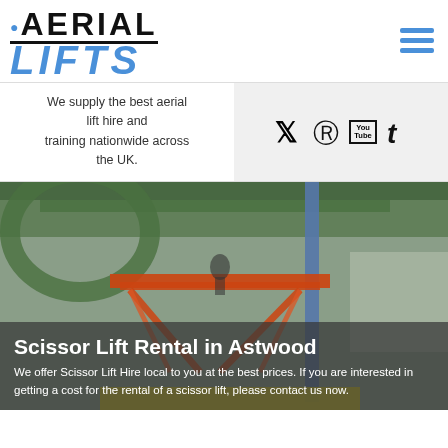[Figure (logo): Aerial Lifts logo with location pin icon, AERIAL in black bold uppercase with underline, LIFTS in blue bold italic uppercase]
[Figure (infographic): Hamburger menu icon (three horizontal blue lines) in top right corner]
We supply the best aerial lift hire and training nationwide across the UK.
[Figure (infographic): Social media icons: Twitter bird, Pinterest P, YouTube box, Tumblr t — all in black on light grey background]
[Figure (photo): Photo of scissor lift equipment inside a large industrial building with green metal structure and blue vertical pole]
Scissor Lift Rental in Astwood
We offer Scissor Lift Hire local to you at the best prices. If you are interested in getting a cost for the rental of a scissor lift, please contact us now.